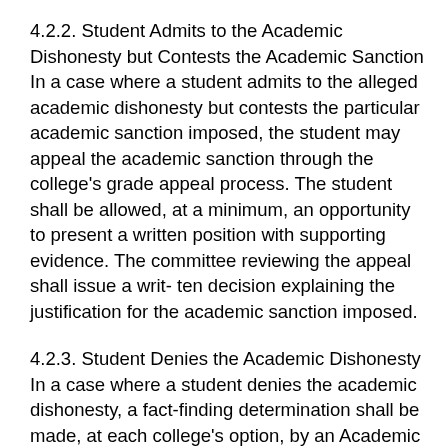4.2.2. Student Admits to the Academic Dishonesty but Contests the Academic Sanction
In a case where a student admits to the alleged academic dishonesty but contests the particular academic sanction imposed, the student may appeal the academic sanction through the college's grade appeal process. The student shall be allowed, at a minimum, an opportunity to present a written position with supporting evidence. The committee reviewing the appeal shall issue a writ- ten decision explaining the justification for the academic sanction imposed.
4.2.3. Student Denies the Academic Dishonesty
In a case where a student denies the academic dishonesty, a fact-finding determination shall be made, at each college's option, by an Academic Integrity Committee established by the college's